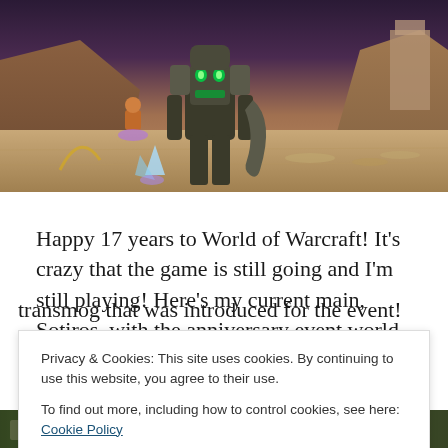[Figure (screenshot): World of Warcraft in-game screenshot showing a large mechanical/demonic world boss character (Doomwalker) in a sandy desert zone, with mountains and ruins in the background. A player character is visible nearby.]
Happy 17 years to World of Warcraft! It's crazy that the game is still going and I'm still playing! Here's my current main, Sotiros, with the anniversary event world boss, Doomwalker. I'm also using the Akama's Edge weapon transmog that was introduced for the event!
Privacy & Cookies: This site uses cookies. By continuing to use this website, you agree to their use. To find out more, including how to control cookies, see here: Cookie Policy
Close and accept
[Figure (screenshot): Bottom strip of another World of Warcraft in-game screenshot showing a green/forested zone.]